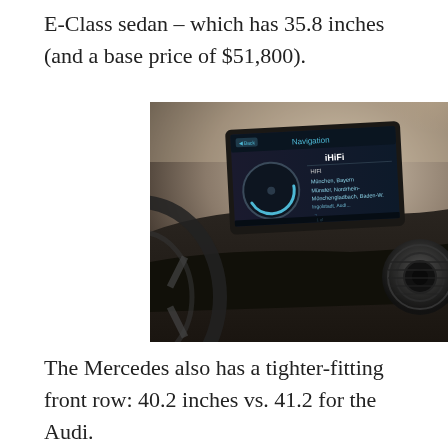E-Class sedan  – which has 35.8 inches (and a base price of $51,800).
[Figure (photo): Car dashboard interior showing an infotainment/navigation screen displaying a menu with city names, with the steering wheel and a circular air vent visible in the foreground.]
The Mercedes also has a tighter-fitting front row: 40.2 inches vs. 41.2 for the Audi.
The ILX splits the difference – with a still-reasonable 34 inches of backseat legroom (and 35.9 inches of headroom) and a best-in-class 42.2